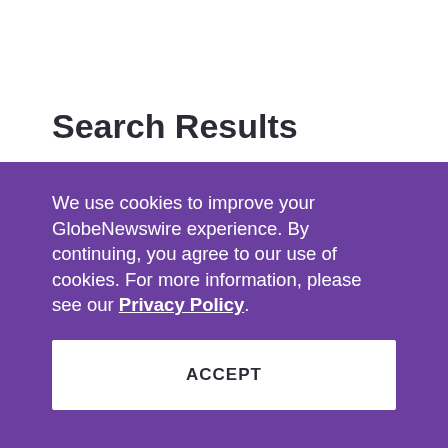Search Results
We use cookies to improve your GlobeNewswire experience. By continuing, you agree to our use of cookies. For more information, please see our Privacy Policy.
ACCEPT